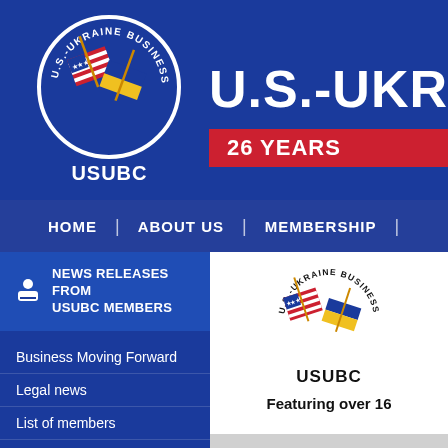[Figure (logo): U.S.-Ukraine Business Council logo with crossed US and Ukrainian flags in a circular badge, labeled USUBC]
U.S.-UKR
26 YEARS
HOME | ABOUT US | MEMBERSHIP
NEWS RELEASES FROM USUBC MEMBERS
Business Moving Forward
Legal news
List of members
How to become a member
[Figure (logo): U.S.-Ukraine Business Council logo with crossed US and Ukrainian flags in a circular badge, labeled USUBC]
Featuring over 16